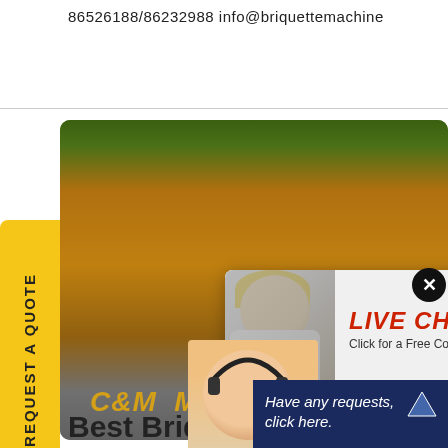86526188/86232988 info@briquettemachine
[Figure (photo): Construction site hero image with orange/brown earth, machinery, workers in yellow hard hats; overlaid with LIVE CHAT popup and customer support widget. Text: C&M M visible at bottom of hero image.]
Best Briquette Maker Ma